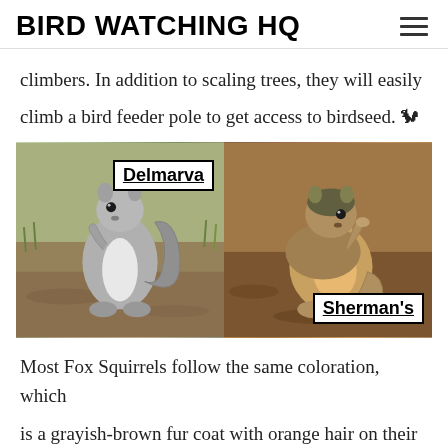BIRD WATCHING HQ
climbers. In addition to scaling trees, they will easily climb a bird feeder pole to get access to birdseed. 🐿
[Figure (photo): Two side-by-side photos of fox squirrels. Left photo labeled 'Delmarva' shows a gray squirrel standing upright on brown ground with green grass background. Right photo labeled 'Sherman's' shows a tan/orange-bellied squirrel in a sitting position on brown ground.]
Most Fox Squirrels follow the same coloration, which is a grayish-brown fur coat with orange hair on their